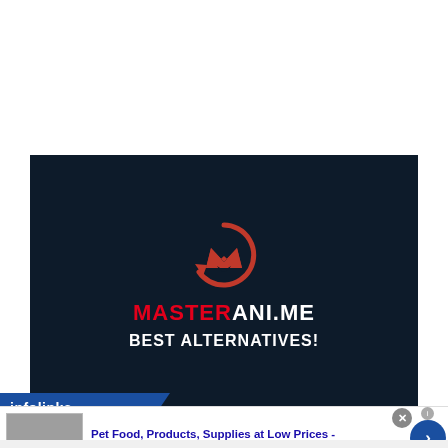[Figure (logo): Dark navy background banner showing a red stylized M logo with circular arrow, text 'MASTERANI.ME' in red and white bold letters, and subtitle 'BEST ALTERNATIVES!' in white bold text.]
[Figure (screenshot): Infolinks advertisement bar and Chewy.com ad banner below the main image. Ad reads: 'Pet Food, Products, Supplies at Low Prices - Pay the lowest prices on pet supplies at Chewy.com' with URL chewy.com]